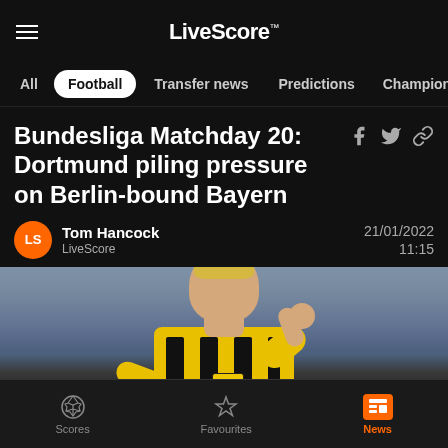LiveScore™
All  Football  Transfer news  Predictions  Champion
Bundesliga Matchday 20: Dortmund piling pressure on Berlin-bound Bayern
Tom Hancock
LiveScore
21/01/2022
11:15
[Figure (photo): Erling Haaland in Borussia Dortmund yellow and black striped jersey flexing/celebrating on the pitch]
Scores  Favourites  News